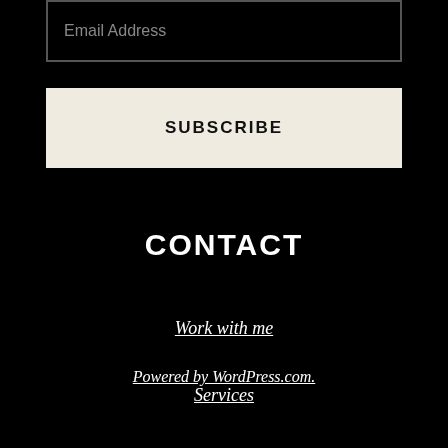Email Address
SUBSCRIBE
CONTACT
Work with me
Services
Powered by WordPress.com.